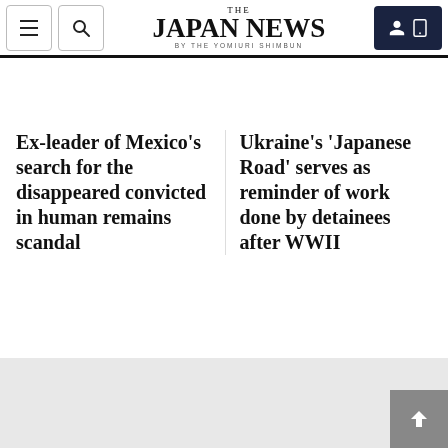THE JAPAN NEWS BY THE YOMIURI SHIMBUN
Ex-leader of Mexico's search for the disappeared convicted in human remains scandal
Ukraine's 'Japanese Road' serves as reminder of work done by detainees after WWII